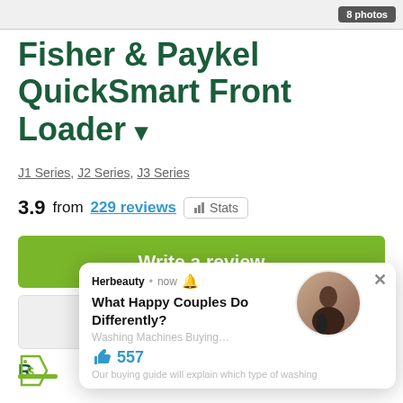[Figure (screenshot): Top bar with '8 photos' button on dark background]
Fisher & Paykel QuickSmart Front Loader
J1 Series, J2 Series, J3 Series
3.9 from 229 reviews  Stats
Write a review
Ask a question
[Figure (screenshot): Herbeauty notification popup: 'What Happy Couples Do Differently?' with 557 likes and a photo of a couple]
Our buying guide will explain which type of washing